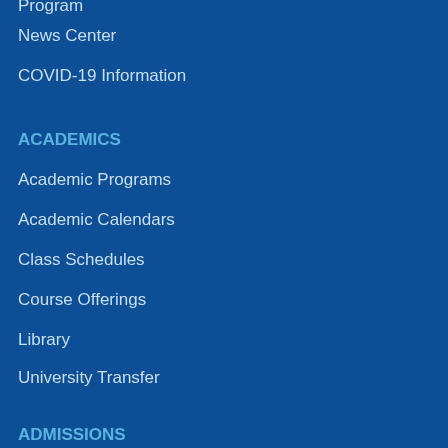News Center
COVID-19 Information
ACADEMICS
Academic Programs
Academic Calendars
Class Schedules
Course Offerings
Library
University Transfer
ADMISSIONS